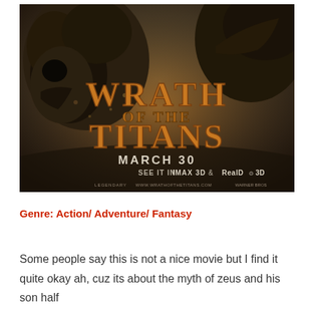[Figure (photo): Movie poster for 'Wrath of the Titans' showing large dark mythological creatures looming over the title text. Text reads: WRATH OF THE TITANS, MARCH 30, SEE IT IN IMAX 3D & RealD 3D]
Genre: Action/ Adventure/ Fantasy
Some people say this is not a nice movie but I find it quite okay ah, cuz its about the myth of zeus and his son half